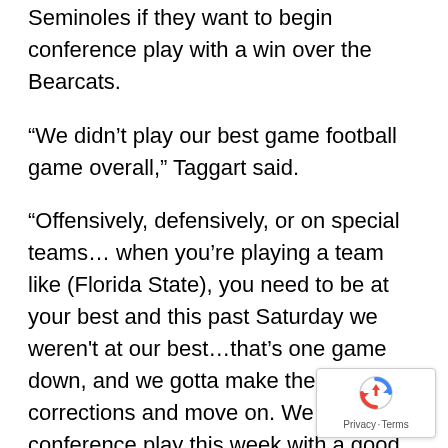Seminoles if they want to begin conference play with a win over the Bearcats.
“We didn’t play our best game football game overall,” Taggart said.
“Offensively, defensively, or on special teams… when you’re playing a team like (Florida State), you need to be at your best and this past Saturday we weren’t at our best…that’s one game down, and we gotta make the corrections and move on. We start our conference play this week with a good team in Cincinnati. They’re athletic, they can run, and it will be a tough environment. So we have to get back to work and get ready for that game.”
A Change in Heart